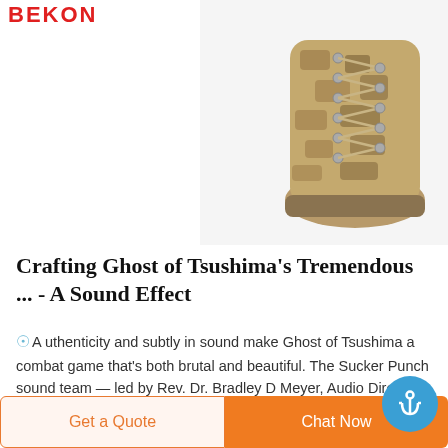BEKON
[Figure (photo): Close-up photo of a camouflage military/tactical boot with desert tan laces and metal eyelets, on a white background]
Crafting Ghost of Tsushima's Tremendous ... - A Sound Effect
A uthenticity and subtly in sound make Ghost of Tsushima a combat game that's both brutal and beautiful. The Sucker Punch sound team — led by Rev. Dr. Bradley D Meyer, Audio Director, and Josh Lord, Senior Sound Designer — intensely researched 13th-century Japan and samurai culture before seeking out potential sound sources to record. These curated
Get a Quote
Chat Now